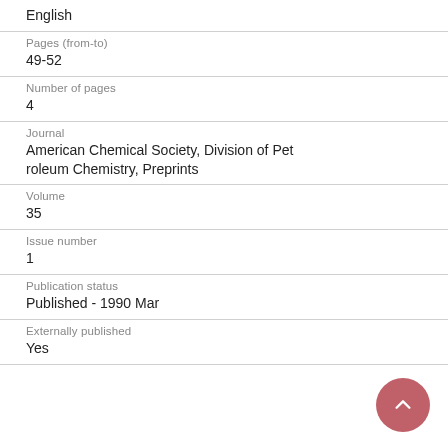English
Pages (from-to)
49-52
Number of pages
4
Journal
American Chemical Society, Division of Petroleum Chemistry, Preprints
Volume
35
Issue number
1
Publication status
Published - 1990 Mar
Externally published
Yes